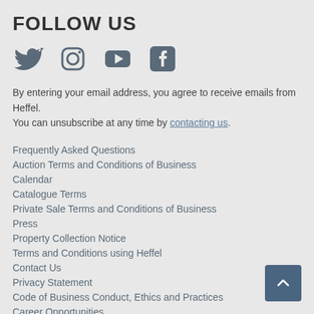FOLLOW US
[Figure (other): Social media icons: Twitter, Instagram, YouTube, Facebook]
By entering your email address, you agree to receive emails from Heffel.
You can unsubscribe at any time by contacting us.
Frequently Asked Questions
Auction Terms and Conditions of Business
Calendar
Catalogue Terms
Private Sale Terms and Conditions of Business
Press
Property Collection Notice
Terms and Conditions using Heffel
Contact Us
Privacy Statement
Code of Business Conduct, Ethics and Practices
Career Opportunities